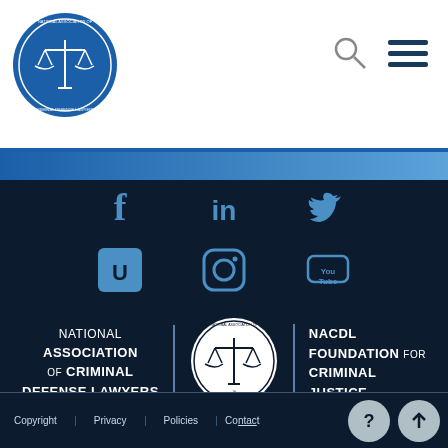[Figure (logo): NACDL circular logo with scales of justice, blue circle with text 'National Association of Criminal Defense Lawyers']
[Figure (infographic): Social media icons on dark background: Facebook (f), LinkedIn (in), Twitter bird, Unbound (U), Instagram, YouTube]
[Figure (logo): NACDL circular logo centered between organization names]
NATIONAL ASSOCIATION OF CRIMINAL DEFENSE LAWYERS
NACDL FOUNDATION FOR CRIMINAL JUSTICE
1660 L St. NW, 12th Floor , Washington, DC 20036
Phone: (202) 872-8600 / Fax: (202) 872-8690
Copyright | Privacy | Policies | Contact